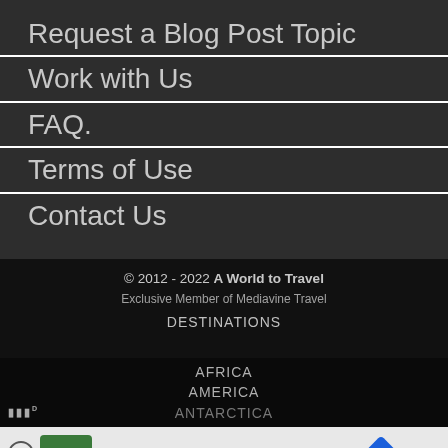Request a Blog Post Topic
Work with Us
FAQ.
Terms of Use
Contact Us
© 2012 - 2022 A World to Travel
Exclusive Member of Mediavine Travel
DESTINATIONS
AFRICA
AMERICA
ANTARCTICA
[Figure (infographic): Advertisement banner with play button, store image, checkmarks for In-store shopping, Curbside pickup, Delivery, navigation icon, and Mediavine logo]